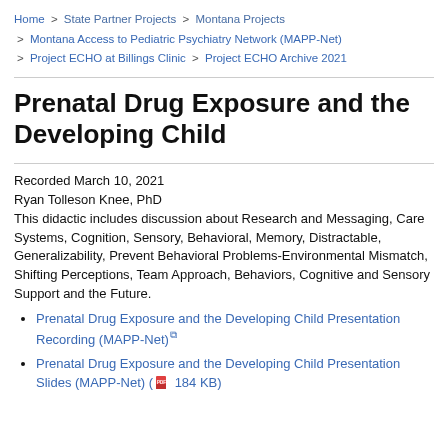Home > State Partner Projects > Montana Projects > Montana Access to Pediatric Psychiatry Network (MAPP-Net) > Project ECHO at Billings Clinic > Project ECHO Archive 2021
Prenatal Drug Exposure and the Developing Child
Recorded March 10, 2021
Ryan Tolleson Knee, PhD
This didactic includes discussion about Research and Messaging, Care Systems, Cognition, Sensory, Behavioral, Memory, Distractable, Generalizability, Prevent Behavioral Problems-Environmental Mismatch, Shifting Perceptions, Team Approach, Behaviors, Cognitive and Sensory Support and the Future.
Prenatal Drug Exposure and the Developing Child Presentation Recording (MAPP-Net)
Prenatal Drug Exposure and the Developing Child Presentation Slides (MAPP-Net) ( 184 KB)